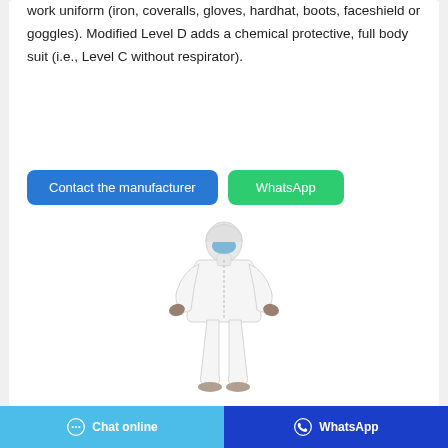work uniform (iron, coveralls, gloves, hardhat, boots, faceshield or goggles). Modified Level D adds a chemical protective, full body suit (i.e., Level C without respirator).
[Figure (other): Two buttons: 'Contact the manufacturer' (blue) and 'WhatsApp' (green)]
[Figure (photo): Person wearing white full-body protective coverall suit with hood and face mask, standing with arms slightly out]
[Figure (other): Bottom navigation bar with 'Chat online' button (light blue with chat icon) and 'WhatsApp' button (dark blue with WhatsApp icon)]